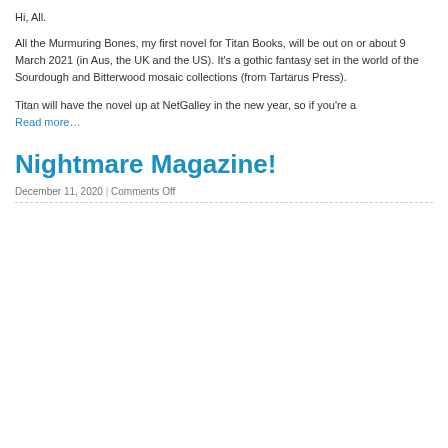Hi, All.
All the Murmuring Bones, my first novel for Titan Books, will be out on or about 9 March 2021 (in Aus, the UK and the US). It's a gothic fantasy set in the world of the Sourdough and Bitterwood mosaic collections (from Tartarus Press).
Titan will have the novel up at NetGalley in the new year, so if you're a
Read more…
Nightmare Magazine!
December 11, 2020 | Comments Off